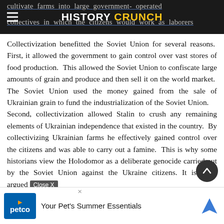HISTORY CRUNCH
cultivate farms into large government-operated collectives in which the citizens would work as laborers
Collectivization benefitted the Soviet Union for several reasons. First, it allowed the government to gain control over vast stores of food production. This allowed the Soviet Union to confiscate large amounts of grain and produce and then sell it on the world market. The Soviet Union used the money gained from the sale of Ukrainian grain to fund the industrialization of the Soviet Union. Second, collectivization allowed Stalin to crush any remaining elements of Ukrainian independence that existed in the country. By collectivizing Ukrainian farms he effectively gained control over the citizens and was able to carry out a famine. This is why some historians view the Holodomor as a deliberate genocide carried out by the Soviet Union against the Ukraine citizens. It is often argued that with poor purposely months of